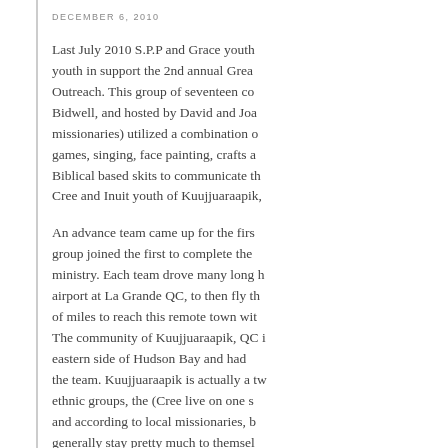DECEMBER 6, 2010
Last July 2010 S.P.P and Grace youth youth in support the 2nd annual Grea Outreach. This group of seventeen co Bidwell, and hosted by David and Joa missionaries) utilized a combination o games, singing, face painting, crafts a Biblical based skits to communicate th Cree and Inuit youth of Kuujjuaraapik,
An advance team came up for the firs group joined the first to complete the ministry. Each team drove many long h airport at La Grande QC, to then fly th of miles to reach this remote town wit The community of Kuujjuaraapik, QC i eastern side of Hudson Bay and had the team. Kuujjuaraapik is actually a tw ethnic groups, the (Cree live on one s and according to local missionaries, b generally stay pretty much to themsel